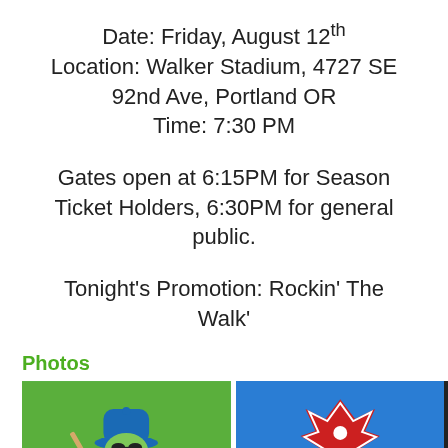Date: Friday, August 12th
Location: Walker Stadium, 4727 SE 92nd Ave, Portland OR
Time: 7:30 PM
Gates open at 6:15PM for Season Ticket Holders, 6:30PM for general public.
Tonight's Promotion: Rockin' The Walk'
Photos
[Figure (photo): Two sports team logos side by side: left image shows a cartoon baseball player mascot on a green background; right image shows a red maple leaf or crown logo on a blue background.]